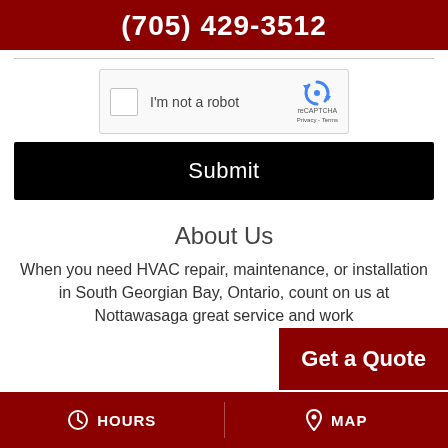(705) 429-3512
[Figure (screenshot): reCAPTCHA widget with checkbox labeled 'I'm not a robot' and reCAPTCHA logo with Privacy and Terms links]
Submit
About Us
When you need HVAC repair, maintenance, or installation in South Georgian Bay, Ontario, count on us at Nottawasaga great service and work
Get a Quote
HOURS   MAP